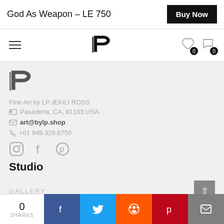God As Weapon - LE 750
[Figure (logo): LP brand logo - stylized LP lettermark in black]
Fine Art by LP ÆKILI ROSS
Pasadena, CA, 91103 USA.
art@bylp.shop
+01 949.328.6750
[Figure (illustration): Social media icons: Instagram, Facebook, Pinterest]
Studio
GALLERY
0 SHARES